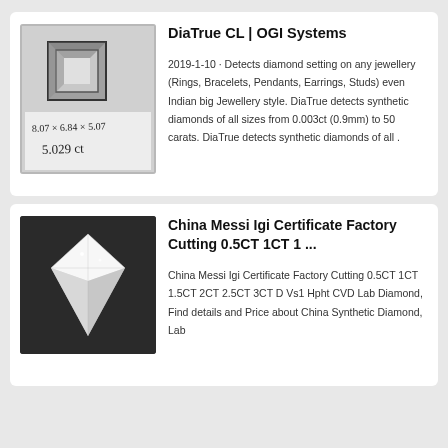[Figure (photo): A small square gemstone/diamond setting with handwritten measurements: 8.07 x 6.84 x 5.07, 5.029 ct]
DiaTrue CL | OGI Systems
2019-1-10 · Detects diamond setting on any jewellery (Rings, Bracelets, Pendants, Earrings, Studs) even Indian big Jewellery style. DiaTrue detects synthetic diamonds of all sizes from 0.003ct (0.9mm) to 50 carats. DiaTrue detects synthetic diamonds of all .
[Figure (photo): A cut diamond photographed on a dark textured background, showing sparkle and facets]
China Messi Igi Certificate Factory Cutting 0.5CT 1CT 1 ...
China Messi Igi Certificate Factory Cutting 0.5CT 1CT 1.5CT 2CT 2.5CT 3CT D Vs1 Hpht CVD Lab Diamond, Find details and Price about China Synthetic Diamond, Lab